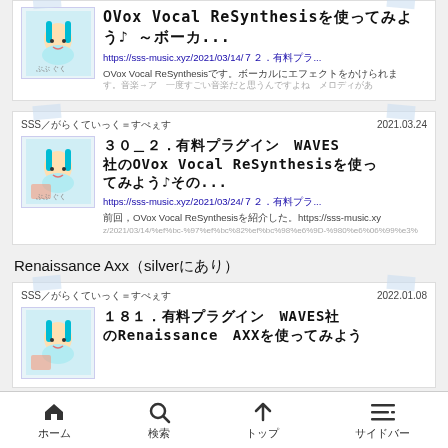[Figure (screenshot): Partially visible article card at top: OVox Vocal ReSynthesisを使ってみよう♪ ～ボーカ... with URL https://sss-music.xyz/2021/03/14/７２．有料プラ... and description text]
[Figure (screenshot): Article card: SSS／がらくていっく＝すぺぇす, 2021.03.24, ３０＿２．有料プラグイン　WAVES社のOVox Vocal ReSynthesisを使ってみよう♪その... with URL https://sss-music.xyz/2021/03/24/７２．有料プラ... and description]
Renaissance Axx（silverにあり）
[Figure (screenshot): Article card: SSS／がらくていっく＝すぺぇす, 2022.01.08, １８１．有料プラグイン　WAVES社のRenaissance　AXXを使ってみよう (partially visible)]
ホーム　検索　トップ　サイドバー